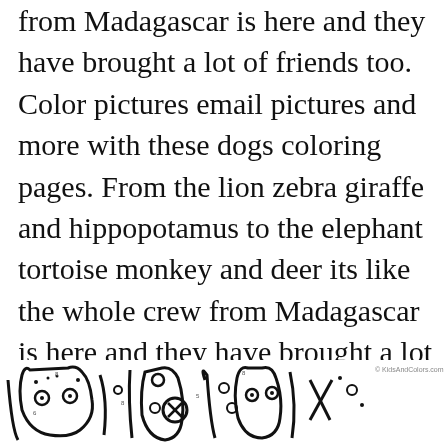from Madagascar is here and they have brought a lot of friends too. Color pictures email pictures and more with these dogs coloring pages. From the lion zebra giraffe and hippopotamus to the elephant tortoise monkey and deer its like the whole crew from Madagascar is here and they have brought a lot of friends too. Zoo entrance coloring page. Rosamond Gifford Zoo Elephant Outline Elephant Coloring Page Zoo Coloring Pages.
[Figure (illustration): Partial view of coloring page illustrations showing cartoon animal outlines including what appears to be a cat/fox face and other stylized animal shapes drawn in black outline style, typical of children's coloring book pages. KidsAndColors.com watermark visible.]